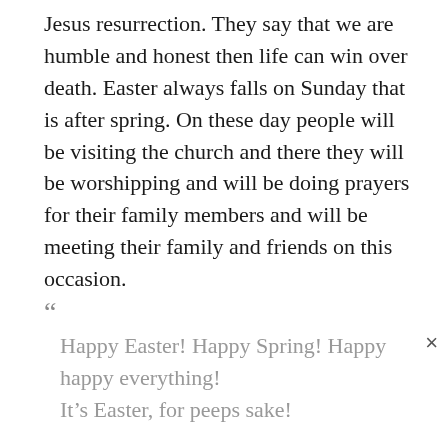Jesus resurrection. They say that we are humble and honest then life can win over death. Easter always falls on Sunday that is after spring. On these day people will be visiting the church and there they will be worshipping and will be doing prayers for their family members and will be meeting their family and friends on this occasion.
“Happy Easter! Happy Spring! Happy happy everything!
It’s Easter, for peeps sake!